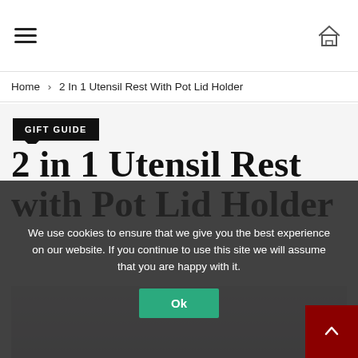Navigation header with hamburger menu and home icon
Home > 2 In 1 Utensil Rest With Pot Lid Holder
GIFT GUIDE
2 in 1 Utensil Rest with Pot Lid Holder
[Figure (photo): Product photo of a 2 in 1 Utensil Rest with Pot Lid Holder, partially visible at the bottom of the page]
We use cookies to ensure that we give you the best experience on our website. If you continue to use this site we will assume that you are happy with it.